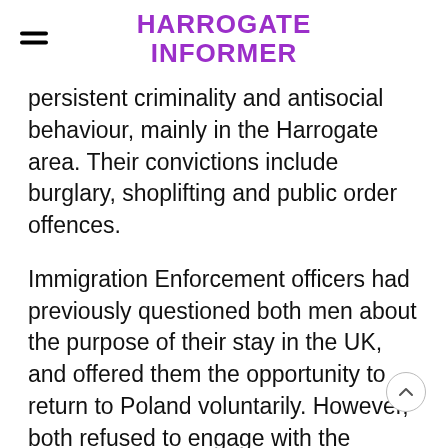HARROGATE INFORMER
persistent criminality and antisocial behaviour, mainly in the Harrogate area. Their convictions include burglary, shoplifting and public order offences.
Immigration Enforcement officers had previously questioned both men about the purpose of their stay in the UK, and offered them the opportunity to return to Poland voluntarily. However, both refused to engage with the voluntary returns process.
Jacek entered the UK in 2008 and Marek in 2014. Their deportation means they are banned from re